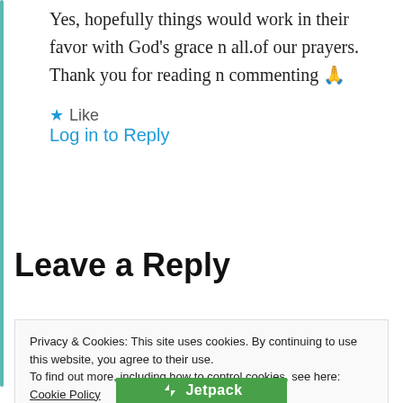Yes, hopefully things would work in their favor with God's grace n all.of our prayers. Thank you for reading n commenting 🙏
★ Like
Log in to Reply
Leave a Reply
Privacy & Cookies: This site uses cookies. By continuing to use this website, you agree to their use. To find out more, including how to control cookies, see here: Cookie Policy
Close and accept
[Figure (logo): Jetpack logo and text on green background]